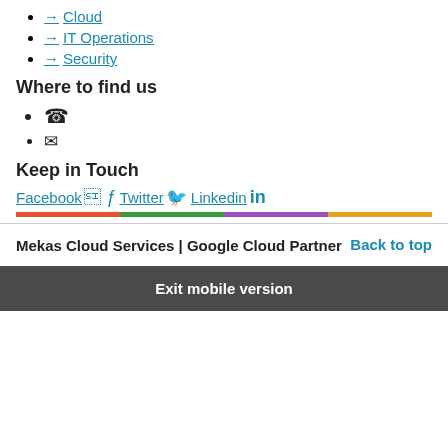→ Cloud
→ IT Operations
→ Security
Where to find us
☎ (phone icon)
✉ (email icon)
Keep in Touch
Facebook  Twitter  Linkedin
Mekas Cloud Services | Google Cloud Partner
Back to top
Exit mobile version